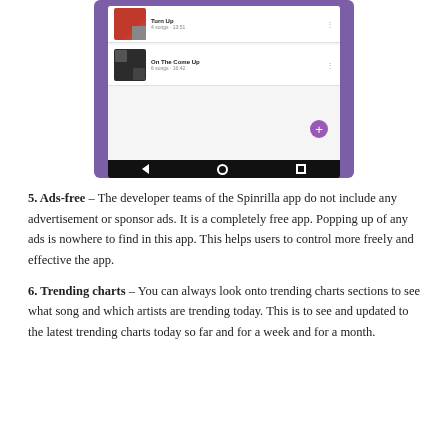[Figure (screenshot): Screenshot of a mobile phone app (Spinrilla) showing a playlist interface with purple background, two playlist items with album art thumbnails, a '+' FAB button, and Android navigation bar at the bottom.]
5. Ads-free – The developer teams of the Spinrilla app do not include any advertisement or sponsor ads. It is a completely free app. Popping up of any ads is nowhere to find in this app. This helps users to control more freely and effective the app.
6. Trending charts – You can always look onto trending charts sections to see what song and which artists are trending today. This is to see and updated to the latest trending charts today so far and for a week and for a month.